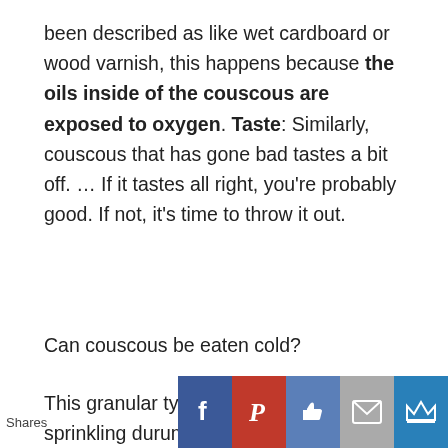been described as like wet cardboard or wood varnish, this happens because the oils inside of the couscous are exposed to oxygen. Taste: Similarly, couscous that has gone bad tastes a bit off. … If it tastes all right, you're probably good. If not, it's time to throw it out.
Can couscous be eaten cold?
This granular type of pasta is made by sprinkling durum or hard wheat semolina
[Figure (infographic): Social sharing bar with Shares label and buttons: Facebook (blue), Pinterest (red), Like (blue thumbs up), Email (grey envelope), Crown (blue)]